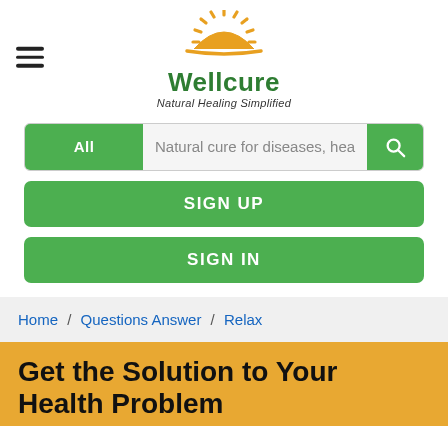[Figure (logo): Wellcure logo — golden sunrise arc with rays above, green bold text 'Wellcure', italic subtitle 'Natural Healing Simplified']
All | Natural cure for diseases, hea (search bar)
SIGN UP
SIGN IN
Home / Questions Answer / Relax
Get the Solution to Your Health Problem